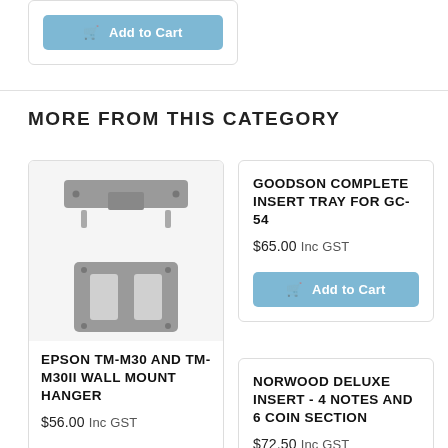[Figure (screenshot): Add to Cart button (blue/teal rounded button with cart icon) at top of page]
MORE FROM THIS CATEGORY
[Figure (photo): Epson TM-M30 and TM-M30II wall mount hanger product image - gray metal bracket parts shown]
EPSON TM-M30 AND TM-M30II WALL MOUNT HANGER
$56.00 Inc GST
GOODSON COMPLETE INSERT TRAY FOR GC-54
$65.00 Inc GST
[Figure (screenshot): Add to Cart button for Goodson product]
NORWOOD DELUXE INSERT - 4 NOTES AND 6 COIN SECTION
$72.50 Inc GST